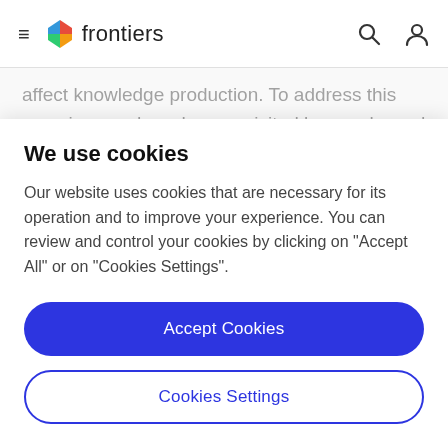frontiers
affect knowledge production. To address this pressing need, we have revisited key works and arguments from the STS tradition in light of our experiences and what we see are concrete challenges involved in co-production of knowledge. Our ambition has been to build upon this
We use cookies
Our website uses cookies that are necessary for its operation and to improve your experience. You can review and control your cookies by clicking on "Accept All" or on "Cookies Settings".
Accept Cookies
Cookies Settings